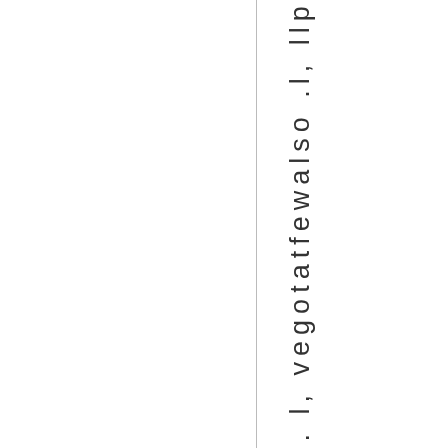ance ... lol ... l, vegotatfewalso .l, llp